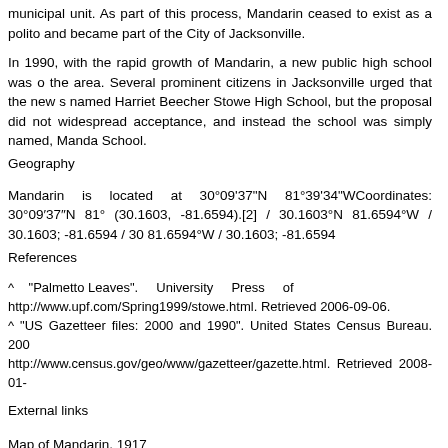municipal unit. As part of this process, Mandarin ceased to exist as a political unit and became part of the City of Jacksonville.
In 1990, with the rapid growth of Mandarin, a new public high school was opened in the area. Several prominent citizens in Jacksonville urged that the new school be named Harriet Beecher Stowe High School, but the proposal did not gain widespread acceptance, and instead the school was simply named, Mandarin High School.
Geography
Mandarin is located at 30°09′37″N 81°39′34″WCoordinates: 30°09′37″N 81°39′34″W (30.1603, -81.6594).[2] / 30.1603°N 81.6594°W / 30.1603; -81.6594 / 30.1603; -81.6594°W / 30.1603; -81.6594
References
^ "Palmetto Leaves". University Press of Florida. http://www.upf.com/Spring1999/stowe.html. Retrieved 2006-09-06.
^ "US Gazetteer files: 2000 and 1990". United States Census Bureau. 2000. http://www.census.gov/geo/www/gazetteer/gazette.html. Retrieved 2008-01-
External links
Map of Mandarin, 1917
Palmetto Leaves
Mandarin Museum & Historical Society
San Marco
San Marco is a relatively small and generally upscale neighborhood located